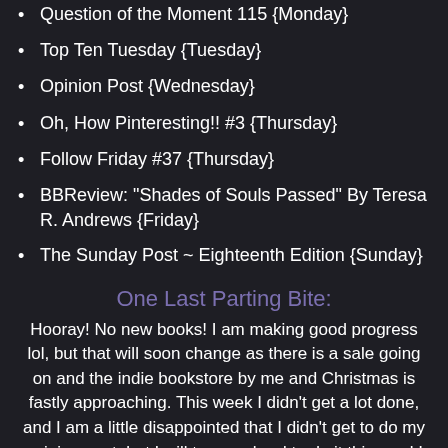Question of the Moment 115 {Monday}
Top Ten Tuesday {Tuesday}
Opinion Post {Wednesday}
Oh, How Pinteresting!! #3 {Thursday}
Follow Friday #37 {Thursday}
BBReview: "Shades of Souls Passed" By Teresa R. Andrews {Friday}
The Sunday Post ~ Eighteenth Edition {Sunday}
One Last Parting Bite:
Hooray! No new books! I am making good progress lol, but that will soon change as there is a sale going on and the indie bookstore by me and Christmas is fastly approaching. This week I didn't get a lot done, and I am a little disappointed that I didn't get to do my opinion post, but I will try very hard to do it this week! This past week I would definitely look at my review of Apparition and this coming up week look forward to my opinion post *finger crossed it